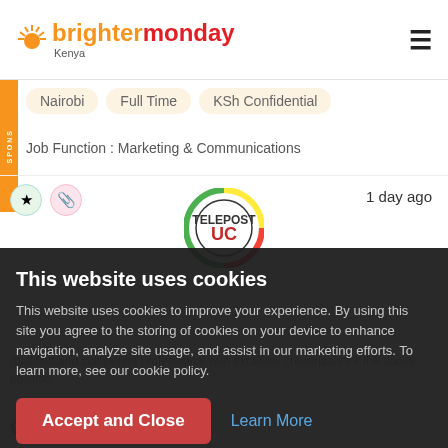BrighterMonday Kenya
Nairobi   Full Time   KSh Confidential
Job Function : Marketing & Communications
1 day ago
[Figure (logo): Telepost logo — circular emblem with green, yellow and red bands, letters 'U' and 'C' in center]
This website uses cookies
This website uses cookies to improve your experience. By using this site you agree to the storing of cookies on your device to enhance navigation, analyze site usage, and assist in our marketing efforts. To learn more, see our cookie policy.
qualified and competent professional with excellent credentials for the above position.
Accept and Close   Learn More
Creative Desi...